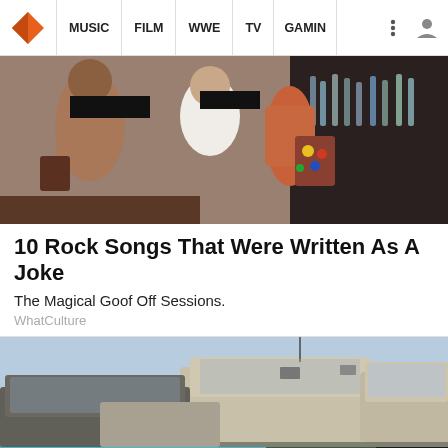MUSIC | FILM | WWE | TV | GAMING
[Figure (photo): Hero image showing people at what appears to be a bar or party setting, faces blurred]
10 Rock Songs That Were Written As A Joke
The Magical Goof Off Sessions.
WhatCulture
[Figure (photo): Photo of multiple SUVs/cars parked in a lot, dusty vehicles seen from front angle]
[Figure (infographic): Aeropostale advertisement banner: TEES & TANKS $6.87 & UP, SHOP NOW]